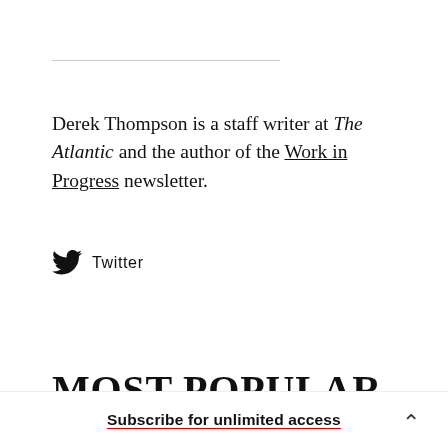Derek Thompson is a staff writer at The Atlantic and the author of the Work in Progress newsletter.
Twitter
MOST POPULAR
The E-bike Is a Monstrosity
Subscribe for unlimited access